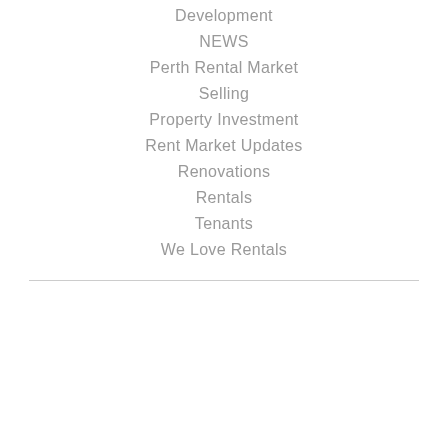Development
NEWS
Perth Rental Market
Selling
Property Investment
Rent Market Updates
Renovations
Rentals
Tenants
We Love Rentals